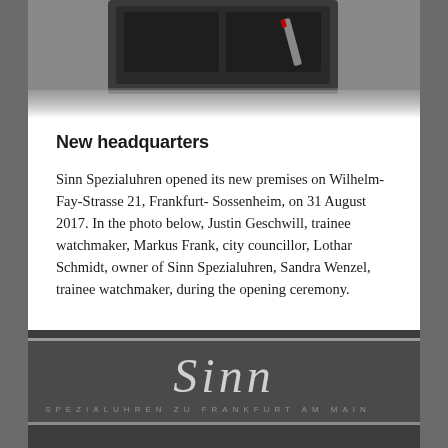[Figure (photo): Top portion of a dark watch box or case, partially cropped]
New headquarters
Sinn Spezialuhren opened its new premises on Wilhelm-Fay-Strasse 21, Frankfurt- Sossenheim, on 31 August 2017. In the photo below, Justin Geschwill, trainee watchmaker, Markus Frank, city councillor, Lothar Schmidt, owner of Sinn Spezialuhren, Sandra Wenzel, trainee watchmaker, during the opening ceremony.
[Figure (photo): Sinn Spezialuhren signage on a dark background, showing the Sinn logo in silver italic lettering and text 'SPEZIALUHREN ZU FRANKFURT AM MAIN' below]